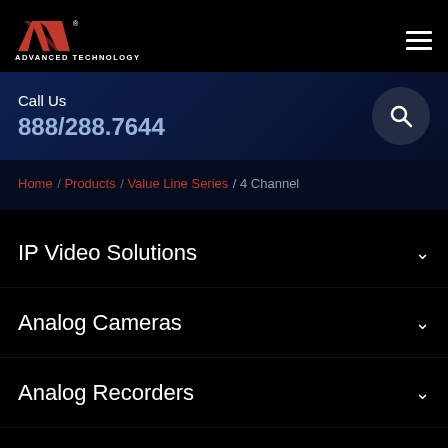[Figure (logo): ATV Advanced Technology Video logo in red and white on black background]
Call Us
888/288.7644
Home / Products / Value Line Series / 4 Channel
IP Video Solutions
Analog Cameras
Analog Recorders